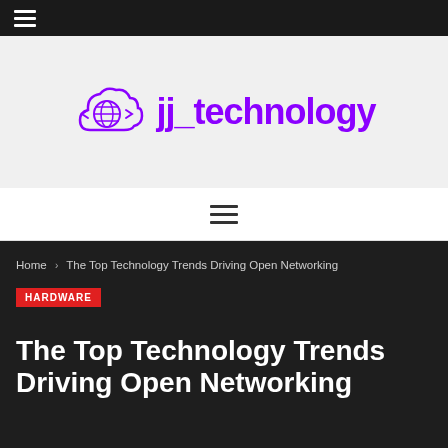☰ (hamburger menu)
[Figure (logo): jj_technology logo with globe-cloud icon in purple and bold purple text 'jj_technology']
≡ (navigation hamburger menu)
Home > The Top Technology Trends Driving Open Networking
HARDWARE
The Top Technology Trends Driving Open Networking